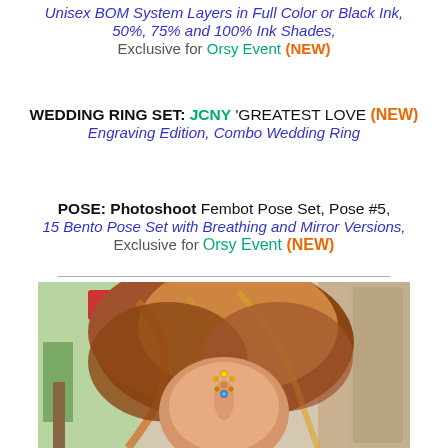Unisex BOM System Layers in Full Color or Black Ink, 50%, 75% and 100% Ink Shades, Exclusive for Orsy Event (NEW)
WEDDING RING SET: JCNY 'GREATEST LOVE (NEW) Engraving Edition, Combo Wedding Ring
POSE: Photoshoot Fembot Pose Set, Pose #5, 15 Bento Pose Set with Breathing and Mirror Versions, Exclusive for Orsy Event (NEW)
[Figure (photo): A rendered 3D avatar character with long wavy auburn/brown hair, face gems/jewels on forehead, set against a colorful street scene background with a sign reading 'ANNIE'S' visible.]